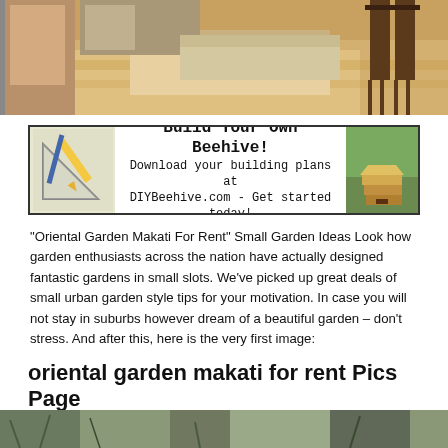[Figure (photo): Interior room photo showing light wood flooring, kitchen area with appliances, and dark bar stools on the right]
[Figure (infographic): Advertisement banner: Build Your Own Beehive! Download your building plans at DIYBeehive.com - Get started today! With pencils/ruler icon on left and beehive photo on right]
“Oriental Garden Makati For Rent” Small Garden Ideas Look how garden enthusiasts across the nation have actually designed fantastic gardens in small slots. We’ve picked up great deals of small urban garden style tips for your motivation. In case you will not stay in suburbs however dream of a beautiful garden – don’t stress. And after this, here is the very first image:
oriental garden makati for rent Pics Page
[Figure (photo): Partial photo at bottom of page showing what appears to be a garden or outdoor scene]